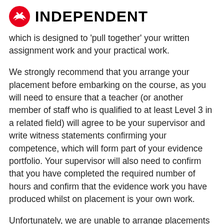INDEPENDENT
which is designed to 'pull together' your written assignment work and your practical work.
We strongly recommend that you arrange your placement before embarking on the course, as you will need to ensure that a teacher (or another member of staff who is qualified to at least Level 3 in a related field) will agree to be your supervisor and write witness statements confirming your competence, which will form part of your evidence portfolio. Your supervisor will also need to confirm that you have completed the required number of hours and confirm that the evidence work you have produced whilst on placement is your own work.
Unfortunately, we are unable to arrange placements for you.